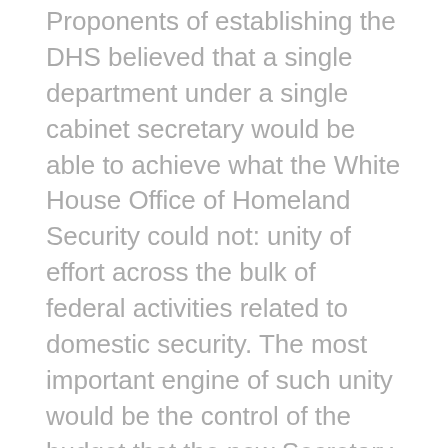Proponents of establishing the DHS believed that a single department under a single cabinet secretary would be able to achieve what the White House Office of Homeland Security could not: unity of effort across the bulk of federal activities related to domestic security. The most important engine of such unity would be the control of the budget that the new Secretary of Homeland Security would enjoy.
To establish control, the department's early leaders created a PPBE modeled loosely on the one in operation within DOD. Other departments with large roles in homeland security also took steps to consolidate or at